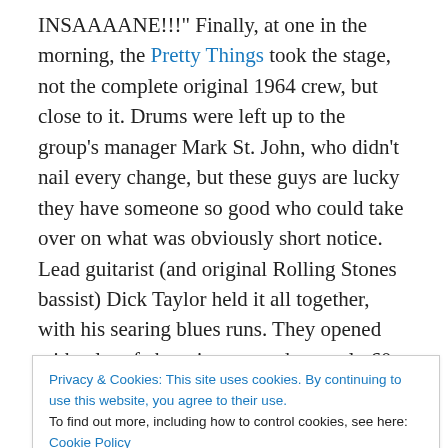INSAAAANE!!!" Finally, at one in the morning, the Pretty Things took the stage, not the complete original 1964 crew, but close to it. Drums were left up to the group's manager Mark St. John, who didn't nail every change, but these guys are lucky they have someone so good who could take over on what was obviously short notice. Lead guitarist (and original Rolling Stones bassist) Dick Taylor held it all together, with his searing blues runs. They opened with a lot of chugging, amped-up early 60s style R&B rock, Roadrunner and such, then touched base with their 70s repertoire with the drugrunning anthem Havana
Privacy & Cookies: This site uses cookies. By continuing to use this website, you agree to their use. To find out more, including how to control cookies, see here: Cookie Policy
Close and accept
Private Sorrow, a surprisingly understated version of the